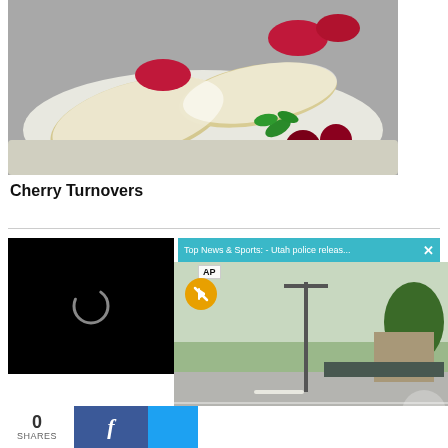[Figure (photo): Cherry turnovers pastry dusted with powdered sugar, filled with cherry jam, garnished with fresh cherries and mint leaves on a white plate]
Cherry Turnovers
[Figure (screenshot): Webpage with video player area: left side shows black video player with loading spinner, right side shows AP news video overlay with title 'Top News & Sports: - Utah police releas...' with close button, showing a road scene with utility poles and trees, mute button visible, AP logo badge shown. Bottom shows social share bar with 0 SHARES count and Facebook and Twitter buttons.]